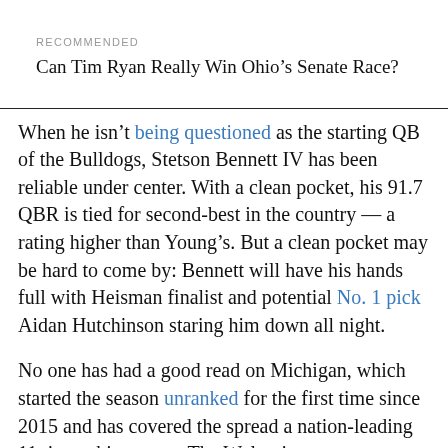RECOMMENDED
Can Tim Ryan Really Win Ohio's Senate Race?
When he isn't being questioned as the starting QB of the Bulldogs, Stetson Bennett IV has been reliable under center. With a clean pocket, his 91.7 QBR is tied for second-best in the country — a rating higher than Young's. But a clean pocket may be hard to come by: Bennett will have his hands full with Heisman finalist and potential No. 1 pick Aidan Hutchinson staring him down all night.
No one has had a good read on Michigan, which started the season unranked for the first time since 2015 and has covered the spread a nation-leading 11 times this season. The Wolverines are a whopping plus-137.5 points against the spread, by far the highest total in the nation and the seventh-highest cover margin through 12 games of any team during